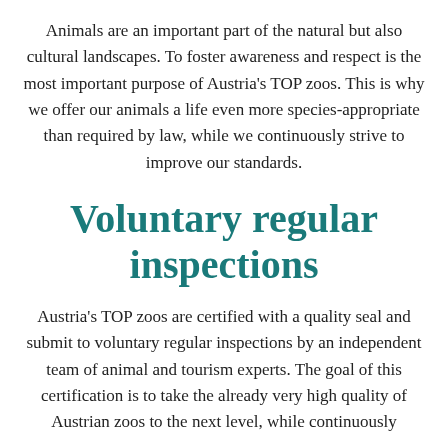Animals are an important part of the natural but also cultural landscapes. To foster awareness and respect is the most important purpose of Austria's TOP zoos. This is why we offer our animals a life even more species-appropriate than required by law, while we continuously strive to improve our standards.
Voluntary regular inspections
Austria's TOP zoos are certified with a quality seal and submit to voluntary regular inspections by an independent team of animal and tourism experts. The goal of this certification is to take the already very high quality of Austrian zoos to the next level, while continuously